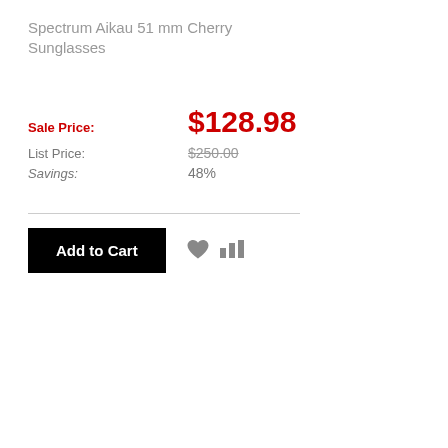Spectrum Aikau 51 mm Cherry Sunglasses
Sale Price: $128.98
List Price: $250.00
Savings: 48%
[Figure (other): Add to Cart button with wishlist heart icon and comparison chart icon]